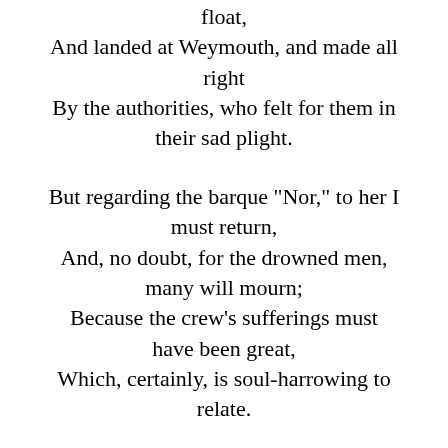float,
And landed at Weymouth, and made all right
By the authorities, who felt for them in their sad plight.

But regarding the barque "Nor," to her I must return,
And, no doubt, for the drowned men, many will mourn;
Because the crew's sufferings must have been great,
Which, certainly, is soul-harrowing to relate.